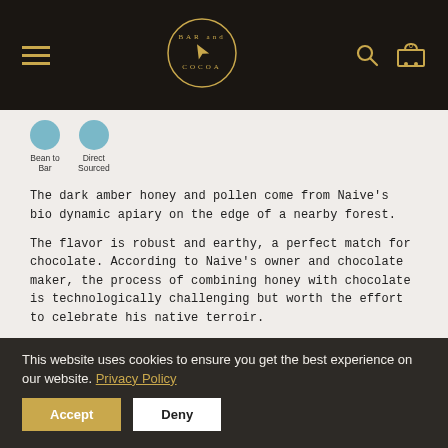Bar and Cocoa — Navigation header with logo, hamburger menu, search and cart icons
[Figure (logo): Bar and Cocoa circular logo with gold border and script text on dark background]
Bean to Bar   Direct Sourced
The dark amber honey and pollen come from Naive's bio dynamic apiary on the edge of a nearby forest.
The flavor is robust and earthy, a perfect match for chocolate. According to Naive's owner and chocolate maker, the process of combining honey with chocolate is technologically challenging but worth the effort to celebrate his native terroir.
This website uses cookies to ensure you get the best experience on our website. Privacy Policy
Accept   Deny